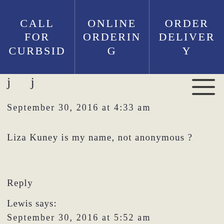CALL FOR CURBSID | ONLINE ORDERING | ORDER DELIVERY
j j
September 30, 2016 at 4:33 am
Liza Kuney is my name, not anonymous ?
Reply
Lewis says:
September 30, 2016 at 5:52 am